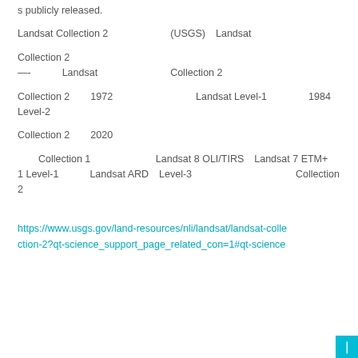s publicly released.
Landsat Collection 2　　　　　　　(USGS)　Landsat
Collection 2　　　　　　　　　　　　　　　　　　　　　　　　　—-　　　Landsat　　　　　　　Collection 2
Collection 2　　1972　　　　　　　　Landsat Level-1　　　　1984　　　　　Level-2
Collection 2　　2020
Collection 1　　　　　　 Landsat 8 OLI/TIRS　Landsat 7 ETM+　1 Level-1　　　Landsat ARD　Level-3　　　　　　　　　　　Collection 2
https://www.usgs.gov/land-resources/nli/landsat/landsat-collection-2?qt-science_support_page_related_con=1#qt-science